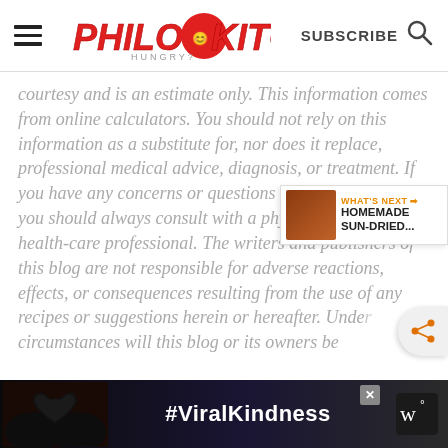[Figure (logo): Philos Kitchen website header with hamburger menu, logo, SUBSCRIBE text, and search icon]
courtesy and is an estimate only. This information comes from online calculators. You should not rely on this information as a substitute for, nor does it replace, professional medical advice, diagnosis, or treatment. If you have any concerns or questions about your health, you should always consult with a physician or other health-care professional. The writers and publishers of this blog are not responsible for adverse reactions, effects, or consequences resulting from the use of any recipes or suggestions herein or hereafter. Under circumstances will this blog or its owners be
[Figure (infographic): #ViralKindness advertisement banner at the bottom with heart hands silhouette]